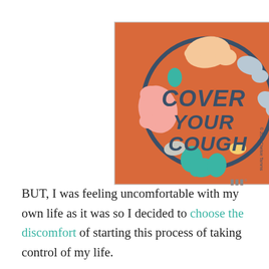[Figure (illustration): Advertisement with orange background showing a circular badge/sticker with colorful abstract shapes (peach, pink, teal, gray blobs) and dark navy text reading 'COVER YOUR COUGH'. A small copyright text '© 2020 Chelsie Tamms' appears along the right side of the circle. A close button (X) is in the top-right corner. A 'moat' ad logo appears below the ad.]
BUT, I was feeling uncomfortable with my own life as it was so I decided to choose the discomfort of starting this process of taking control of my life.